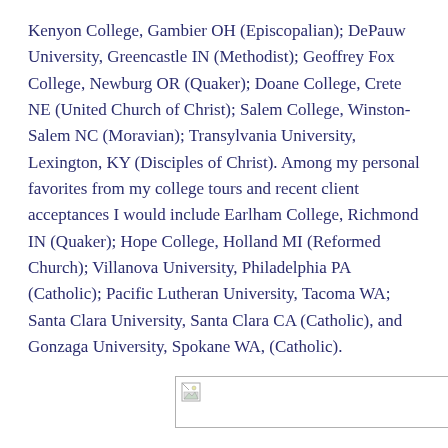Kenyon College, Gambier OH (Episcopalian); DePauw University, Greencastle IN (Methodist); Geoffrey Fox College, Newburg OR (Quaker); Doane College, Crete NE (United Church of Christ); Salem College, Winston-Salem NC (Moravian); Transylvania University, Lexington, KY (Disciples of Christ). Among my personal favorites from my college tours and recent client acceptances I would include Earlham College, Richmond IN (Quaker); Hope College, Holland MI (Reformed Church); Villanova University, Philadelphia PA (Catholic); Pacific Lutheran University, Tacoma WA; Santa Clara University, Santa Clara CA (Catholic), and Gonzaga University, Spokane WA, (Catholic).
[Figure (other): Broken image placeholder — small broken image icon in top-left corner of a rectangular bordered box]